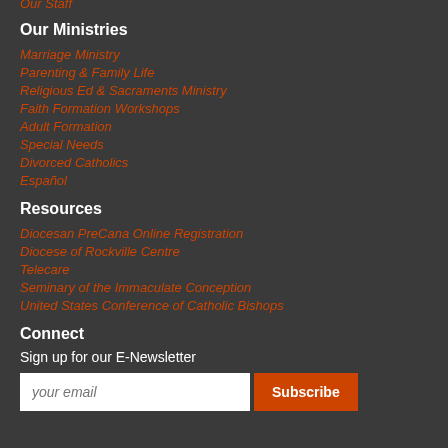Our Staff
Our Ministries
Marriage Ministry
Parenting & Family Life
Religious Ed & Sacraments Ministry
Faith Formation Workshops
Adult Formation
Special Needs
Divorced Catholics
Español
Resources
Diocesan PreCana Online Registration
Diocese of Rockville Centre
Telecare
Seminary of the Immaculate Conception
United States Conference of Catholic Bishops
Connect
Sign up for our E-Newsletter